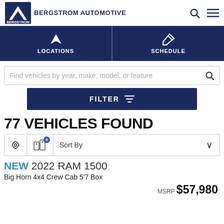BERGSTROM AUTOMOTIVE
LOCATIONS
SCHEDULE
Find vehicles by year, make, model, or feature
FILTER
77 VEHICLES FOUND
Sort By
NEW 2022 RAM 1500
Big Horn 4x4 Crew Cab 5'7 Box
MSRP $57,980